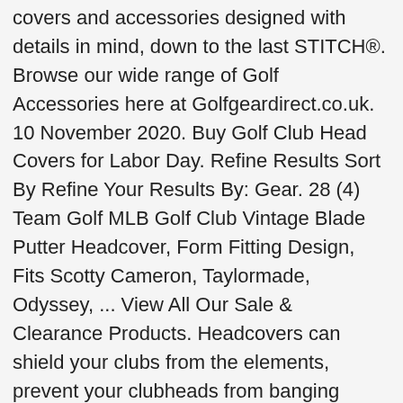covers and accessories designed with details in mind, down to the last STITCH®. Browse our wide range of Golf Accessories here at Golfgeardirect.co.uk. 10 November 2020. Buy Golf Club Head Covers for Labor Day. Refine Results Sort By Refine Your Results By: Gear. 28 (4) Team Golf MLB Golf Club Vintage Blade Putter Headcover, Form Fitting Design, Fits Scotty Cameron, Taylormade, Odyssey, ... View All Our Sale & Clearance Products. Headcovers can shield your clubs from the elements, prevent your clubheads from banging together in the back of the cart or in your vehicle, and provide peace of mind when storing your sticks between rounds. You'll find the perfect headcover at Golf Discount at ... Top Rated. This isn't 30 minutes on the range with range balls or looking out of the Pro-Shop window. Show off your sense of style and personality with a unique golf headcover. Golf Club Head Covers. That's right—you get a brand new, still-in-the-plastic club to try for two weeks for just $25. Gamola Golf has one of the widest ranges of novelty golf headcovers available, from the eye-